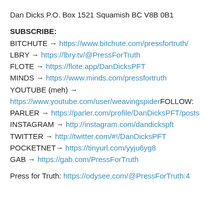Dan Dicks P.O. Box 1521 Squamish BC V8B 0B1
SUBSCRIBE:
BITCHUTE → https://www.bitchute.com/pressfortruth/
LBRY → https://lbry.tv/@PressForTruth
FLOTE → https://flote.app/DanDicksPFT
MINDS → https://www.minds.com/pressfortruth
YOUTUBE (meh) → https://www.youtube.com/user/weavingspider
FOLLOW:
PARLER → https://parler.com/profile/DanDicksPFT/posts
INSTAGRAM → http://instagram.com/dandickspft
TWITTER → http://twitter.com/#!/DanDicksPFT
POCKETNET→ https://tinyurl.com/yyju6yg8
GAB → https://gab.com/PressForTruth
Press for Truth: https://odysee.com/@PressForTruth:4